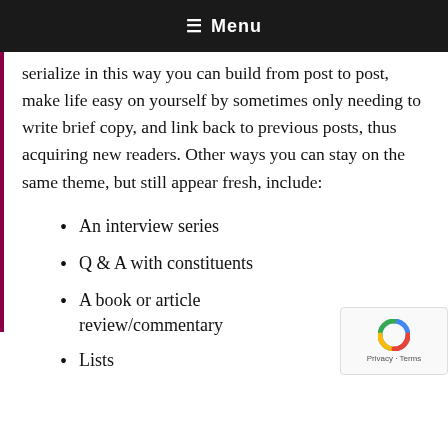≡ Menu
serialize in this way you can build from post to post, make life easy on yourself by sometimes only needing to write brief copy, and link back to previous posts, thus acquiring new readers. Other ways you can stay on the same theme, but still appear fresh, include:
An interview series
Q & A with constituents
A book or article review/commentary
Lists